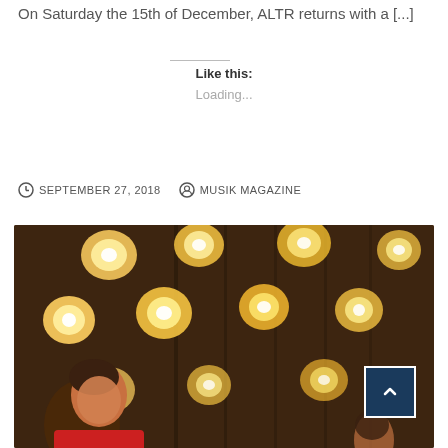On Saturday the 15th of  December, ALTR returns with a [...]
Like this:
Loading...
SEPTEMBER 27, 2018   MUSIK MAGAZINE
[Figure (photo): Concert photo showing a performer on stage with large hexagonal stage lights in the background, warm amber/orange lighting, person in foreground at bottom left]